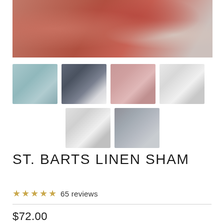[Figure (photo): Main hero image showing crumpled terracotta/rust-red linen fabric closeup]
[Figure (photo): Grid of 6 thumbnail images showing linen pillow shams in various colors: light blue, charcoal/dark, dusty rose/pink, white/light gray, white with buttons, and slate gray]
ST. BARTS LINEN SHAM
★★★★★ 65 reviews
$72.00